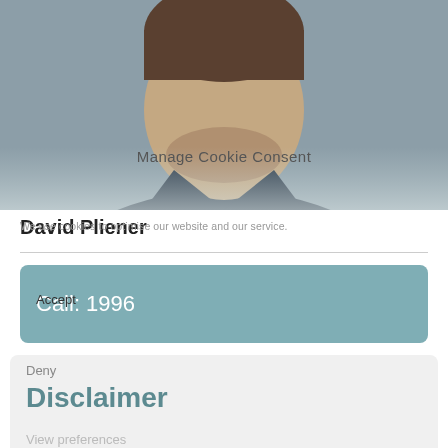[Figure (photo): Headshot of a man in a dark suit against a grey background, partially overlaid with a cookie consent dialog]
Manage Cookie Consent
We use cookies to optimise our website and our service.
David Pliener
Call: 1996
Accept
Deny
Disclaimer
View preferences
Save preferences
This content is provided free of charge for information purposes only. It does not constitute legal advice and should not be relied on as such. No responsibility for the accuracy and/or correctness of the information and commentary set out in the article, or for any consequences of relying on it, is assumed or accepted by any member of Chambers or by Chambers as a wh